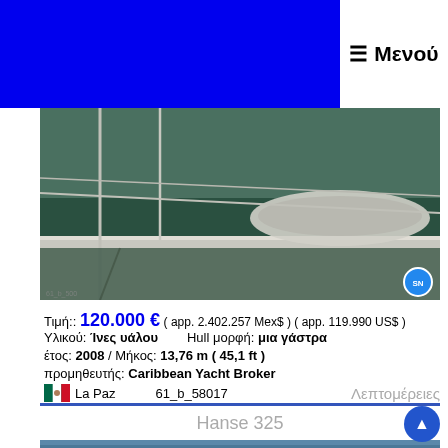≡ Μενού
[Figure (photo): Boat deck photo showing dinghy on water with metal railings]
Τιμή:: 120.000 € ( app. 2.402.257 Mex$ ) ( app. 119.990 US$ )
Υλικού: Ίνες υάλου   Hull μορφή: μια γάστρα
έτος: 2008 / Μήκος: 13,76 m ( 45,1 ft )
προμηθευτής: Caribbean Yacht Broker
🇲🇽 La Paz   61_b_58017   Λεπτομέρειες
Hanse 325
[Figure (photo): Sailboat Hanse 325 moored at marina with masts visible against blue sky]